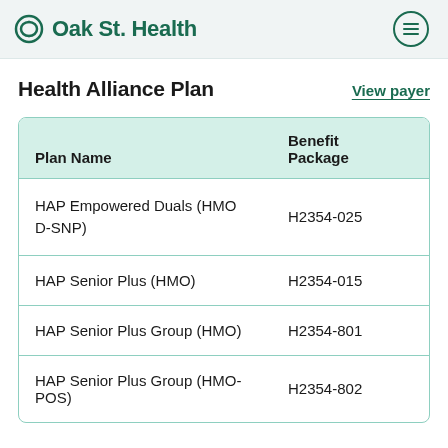Oak St. Health
Health Alliance Plan
View payer
| Plan Name | Benefit
Package |
| --- | --- |
| HAP Empowered Duals (HMO D-SNP) | H2354-025 |
| HAP Senior Plus (HMO) | H2354-015 |
| HAP Senior Plus Group (HMO) | H2354-801 |
| HAP Senior Plus Group (HMO-POS) | H2354-802 |